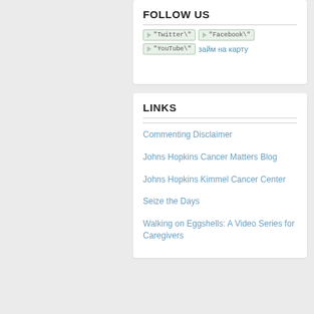FOLLOW US
[Figure (other): Social media icons: Twitter, Facebook, YouTube with text 'займ на карту']
LINKS
Commenting Disclaimer
Johns Hopkins Cancer Matters Blog
Johns Hopkins Kimmel Cancer Center
Seize the Days
Walking on Eggshells: A Video Series for Caregivers